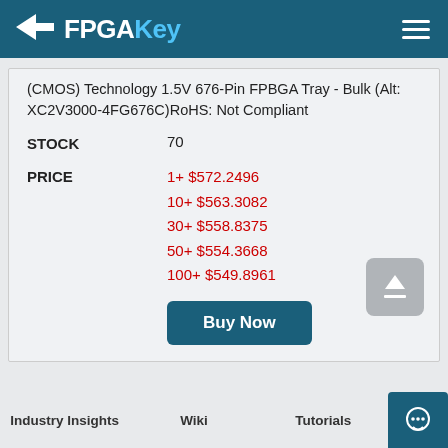FPGAKey
(CMOS) Technology 1.5V 676-Pin FPBGA Tray - Bulk (Alt: XC2V3000-4FG676C)RoHS: Not Compliant
|  |  |
| --- | --- |
| STOCK | 70 |
| PRICE | 1+ $572.2496
10+ $563.3082
30+ $558.8375
50+ $554.3668
100+ $549.8961 |
Industry Insights   Wiki   Tutorials